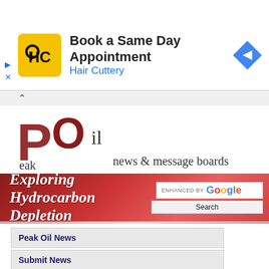[Figure (screenshot): Hair Cuttery advertisement banner with logo, 'Book a Same Day Appointment' text, blue arrow icon, ad controls (triangle and X), and collapse chevron bar]
[Figure (logo): Peak Oil news & message boards logo with stylized P and O letters in dark red]
[Figure (screenshot): Red banner with italic text 'Exploring Hydrocarbon Depletion' and Google enhanced search box with Search button]
Peak Oil News
Submit News
PO Forums
Forum Posts Guest View
Forum Posts Member View